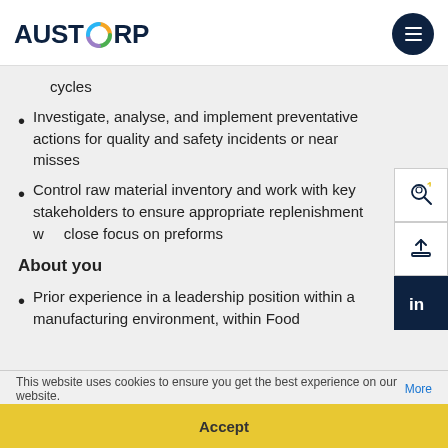AUSTCORP
cycles
Investigate, analyse, and implement preventative actions for quality and safety incidents or near misses
Control raw material inventory and work with key stakeholders to ensure appropriate replenishment w close focus on preforms
About you
Prior experience in a leadership position within a manufacturing environment, within Food
This website uses cookies to ensure you get the best experience on our website. More
Accept